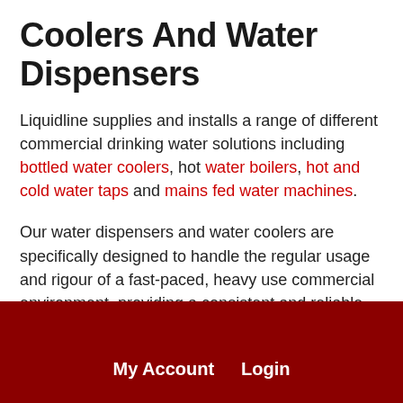Coolers And Water Dispensers
Liquidline supplies and installs a range of different commercial drinking water solutions including bottled water coolers, hot water boilers, hot and cold water taps and mains fed water machines.
Our water dispensers and water coolers are specifically designed to handle the regular usage and rigour of a fast-paced, heavy use commercial environment, providing a consistent and reliable service around the clock.
My Account   Login